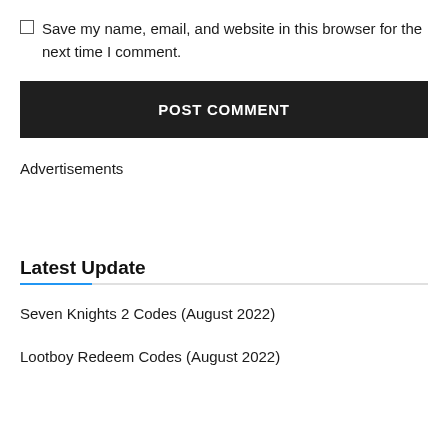Save my name, email, and website in this browser for the next time I comment.
POST COMMENT
Advertisements
Latest Update
Seven Knights 2 Codes (August 2022)
Lootboy Redeem Codes (August 2022)